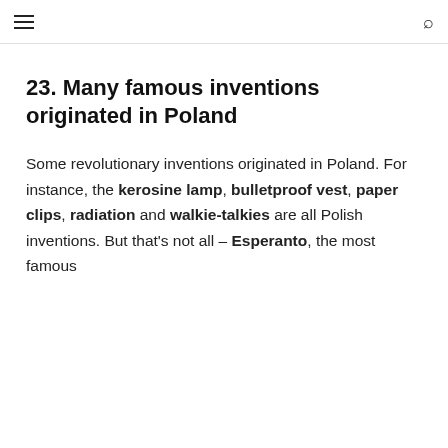☰ [menu] [search]
23. Many famous inventions originated in Poland
Some revolutionary inventions originated in Poland. For instance, the kerosine lamp, bulletproof vest, paper clips, radiation and walkie-talkies are all Polish inventions. But that's not all – Esperanto, the most famous